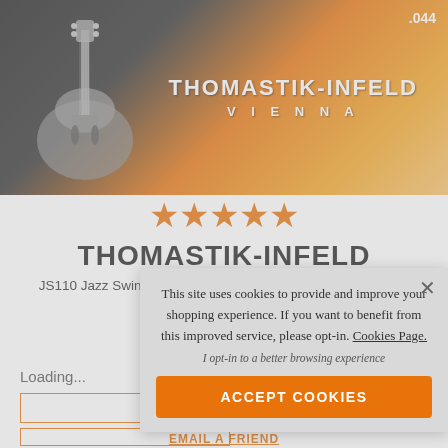[Figure (photo): Product image of Thomastik-Infeld guitar string packaging. Black background with orange/yellow gradient and guitar silhouette on the left. Text reads THOMASTIK-INFELD VIENNA with .044 gauge in top right.]
★★★★★
THOMASTIK-INFELD
JS110 Jazz Swing Flatwound 10-44 Electric
Loading...
[Figure (screenshot): Cookie consent popup overlay. Text: This site uses cookies to provide and improve your shopping experience. If you want to benefit from this improved service, please opt-in. Cookies Page. I opt-in to a better browsing experience. ACCEPT COOKIES button.]
EMAIL A FRIEND